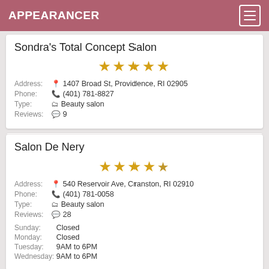APPEARANCER
Sondra's Total Concept Salon
★★★★★ (5 stars)
Address: 1407 Broad St, Providence, RI 02905
Phone: (401) 781-8827
Type: Beauty salon
Reviews: 9
Salon De Nery
★★★★½ (4.5 stars)
Address: 540 Reservoir Ave, Cranston, RI 02910
Phone: (401) 781-0058
Type: Beauty salon
Reviews: 28
Sunday: Closed
Monday: Closed
Tuesday: 9AM to 6PM
Wednesday: 9AM to 6PM